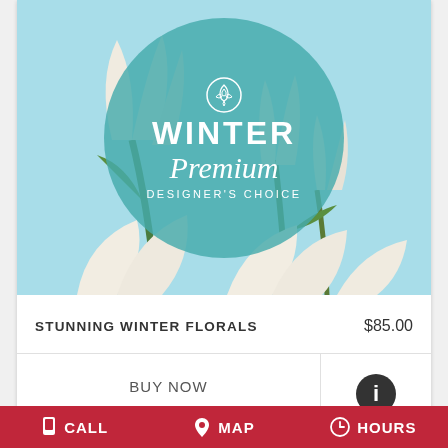[Figure (photo): Florist product card showing white tulips on light blue background with teal circular overlay reading 'WINTER Premium DESIGNER'S CHOICE' with a white rose icon at top of circle]
STUNNING WINTER FLORALS    $85.00
BUY NOW
CALL   MAP   HOURS